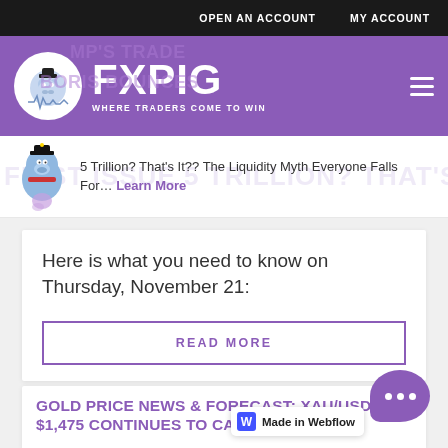OPEN AN ACCOUNT   MY ACCOUNT
[Figure (logo): FXPIG logo — white pig in circle with WHERE TRADERS COME TO WIN tagline on purple background]
5 Trillion? That's It?? The Liquidity Myth Everyone Falls For... Learn More
Here is what you need to know on Thursday, November 21:
READ MORE
GOLD PRICE NEWS & FORECAST: XAU/USD $1,475 CONTINUES TO CAP